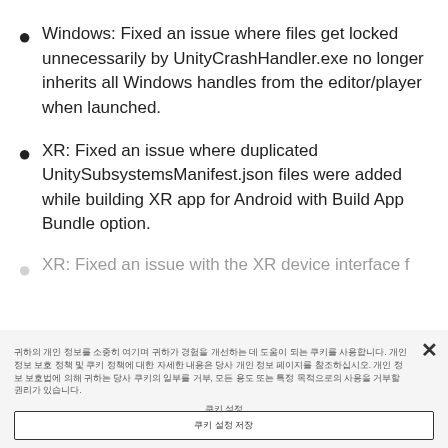Windows: Fixed an issue where files get locked unnecessarily by UnityCrashHandler.exe no longer inherits all Windows handles from the editor/player when launched.
XR: Fixed an issue where duplicated UnitySubsystemsManifest.json files were added while building XR app for Android with Build App Bundle option.
XR: Fixed an issue with the XR device interface f...
(Korean dialog body text — cookie/privacy notice)
쿠키 설정
쿠키 설정 저장